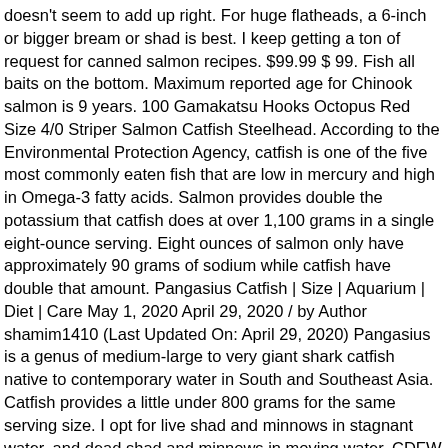doesn't seem to add up right. For huge flatheads, a 6-inch or bigger bream or shad is best. I keep getting a ton of request for canned salmon recipes. $99.99 $ 99. Fish all baits on the bottom. Maximum reported age for Chinook salmon is 9 years. 100 Gamakatsu Hooks Octopus Red Size 4/0 Striper Salmon Catfish Steelhead. According to the Environmental Protection Agency, catfish is one of the five most commonly eaten fish that are low in mercury and high in Omega-3 fatty acids. Salmon provides double the potassium that catfish does at over 1,100 grams in a single eight-ounce serving. Eight ounces of salmon only have approximately 90 grams of sodium while catfish have double that amount. Pangasius Catfish | Size | Aquarium | Diet | Care May 1, 2020 April 29, 2020 / by Author shamim1410 (Last Updated On: April 29, 2020) Pangasius is a genus of medium-large to very giant shark catfish native to contemporary water in South and Southeast Asia. Catfish provides a little under 800 grams for the same serving size. I opt for live shad and minnows in stagnant water, and dead shad and minnows in moving water. CDFW is temporarily closing its high public use areas, including visitor